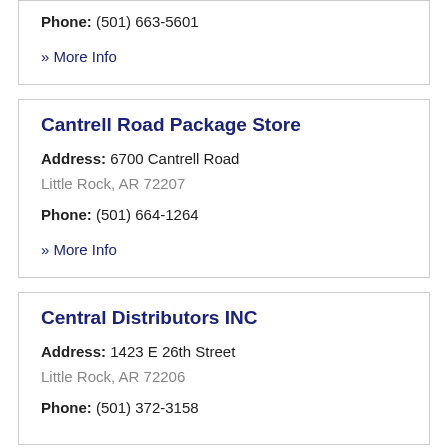Phone: (501) 663-5601
» More Info
Cantrell Road Package Store
Address: 6700 Cantrell Road
Little Rock, AR 72207
Phone: (501) 664-1264
» More Info
Central Distributors INC
Address: 1423 E 26th Street
Little Rock, AR 72206
Phone: (501) 372-3158